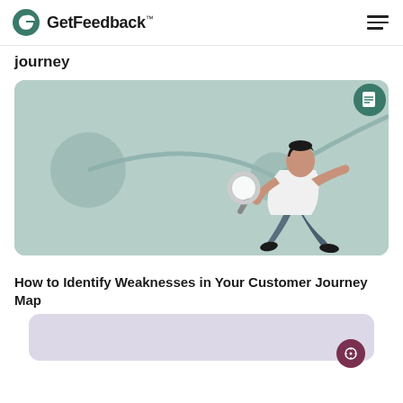GetFeedback™
journey
[Figure (illustration): Illustration of a person holding a magnifying glass, examining dots connected by a curved line on a sage green background, representing customer journey mapping. A document icon badge appears in the top right corner.]
How to Identify Weaknesses in Your Customer Journey Map
[Figure (illustration): Partial card with a light purple/mauve background and a dark maroon circular compass/navigation icon badge, partially visible at the bottom of the page.]